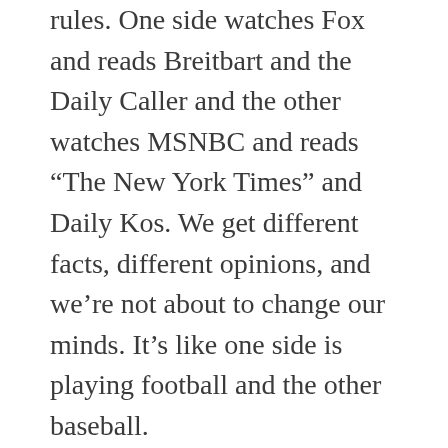rules. One side watches Fox and reads Breitbart and the Daily Caller and the other watches MSNBC and reads “The New York Times” and Daily Kos. We get different facts, different opinions, and we’re not about to change our minds. It’s like one side is playing football and the other baseball.
Oh, there are those on the left saying the right is playing unfair and employing falsehoods, but their exhortations are falling on deaf ears. Nobody on the other side is listening. Although I will say for the past few decades the left has been vulnerable to the right’s criticisms, although that is changing.
So the report is out. Sure, we felt there might be a bombshell. But when there wasn’t, we just switched the channel, believing the report was no different from a prize fight or Evel Knievel jumping the Snake River Canyon. Furthermore, the other party was...